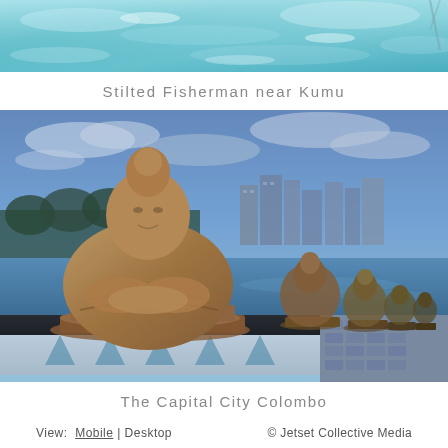[Figure (photo): Aerial/above view of turquoise water with light reflections, appearing to be a shallow coastal or underwater scene with rippling water surface.]
Stilted Fisherman near Kumu
[Figure (photo): Row of Buddha statues on a waterfront platform in Colombo, Sri Lanka (Seema Malaka temple), photographed at dusk/twilight with city skyline reflected in calm water, cobblestone path to the right.]
The Capital City Colombo
View: Mobile | Desktop   © Jetset Collective Media